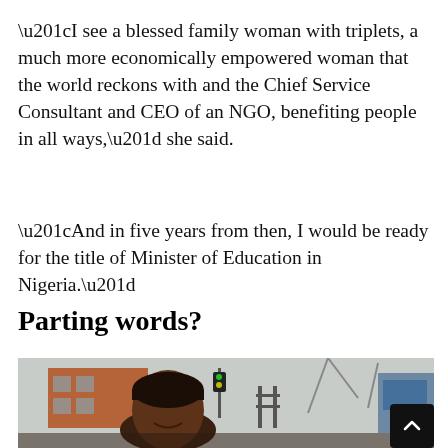“I see a blessed family woman with triplets, a much more economically empowered woman that the world reckons with and the Chief Service Consultant and CEO of an NGO, benefiting people in all ways,” she said.
“And in five years from then, I would be ready for the title of Minister of Education in Nigeria.”
Parting words?
[Figure (photo): A woman smiling at the camera outdoors, with a brick building, metal fences, and industrial structures visible in the background.]